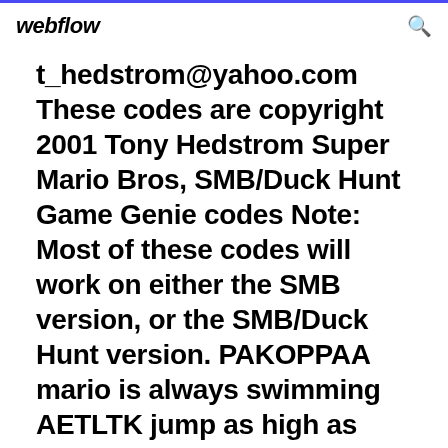webflow
t_hedstrom@yahoo.com These codes are copyright 2001 Tony Hedstrom Super Mario Bros, SMB/Duck Hunt Game Genie codes Note: Most of these codes will work on either the SMB version, or the SMB/Duck Hunt version. PAKOPPAA mario is always swimming AETLTK jump as high as you want! Works while standing, running, or turbo ...
This site has collected the largest collection of